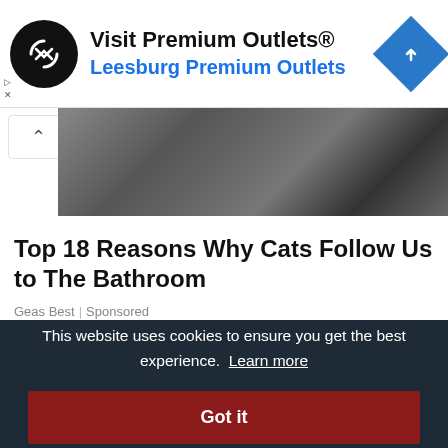[Figure (screenshot): Advertisement banner: black circular logo with arrow icon, text 'Visit Premium Outlets®' and 'Leesburg Premium Outlets' in blue, blue diamond navigation icon on right]
[Figure (photo): Partial photo of what appears to be items under a bed or storage area, dark bags visible]
Top 18 Reasons Why Cats Follow Us to The Bathroom
Geas Best | Sponsored
[Figure (photo): Partial photo showing garden scene with purple flowers and a person]
This website uses cookies to ensure you get the best experience.  Learn more
Got it